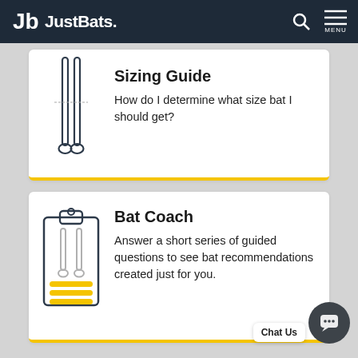JustBats.
[Figure (illustration): Two crossed baseball bats icon for Sizing Guide card]
Sizing Guide
How do I determine what size bat I should get?
[Figure (illustration): Clipboard icon with baseball bats and yellow lines for Bat Coach card]
Bat Coach
Answer a short series of guided questions to see bat recommendations created just for you.